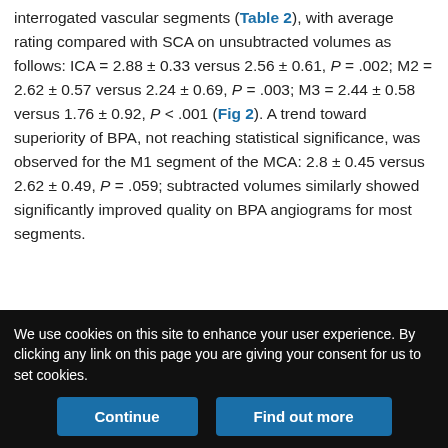2. Angiograms were of generally greater quality across all interrogated vascular segments (Table 2), with average rating compared with SCA on unsubtracted volumes as follows: ICA = 2.88 ± 0.33 versus 2.56 ± 0.61, P = .002; M2 = 2.62 ± 0.57 versus 2.24 ± 0.69, P = .003; M3 = 2.44 ± 0.58 versus 1.76 ± 0.92, P < .001 (Fig 2). A trend toward superiority of BPA, not reaching statistical significance, was observed for the M1 segment of the MCA: 2.8 ± 0.45 versus 2.62 ± 0.49, P = .059; subtracted volumes similarly showed significantly improved quality on BPA angiograms for most segments.
| Table 2: | View inline |
| --- | --- |
| Qualitative analysis of image quality: BPA versus SCA |  |
We use cookies on this site to enhance your user experience. By clicking any link on this page you are giving your consent for us to set cookies.